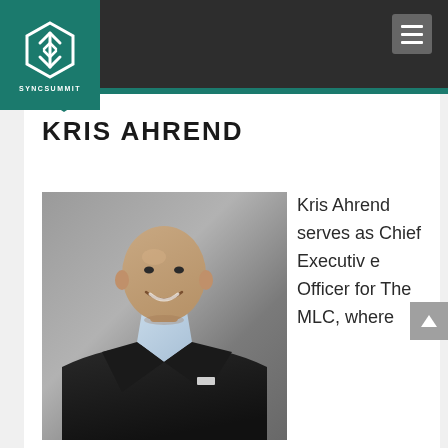SyncSummit
KRIS AHREND
[Figure (photo): Headshot photo of Kris Ahrend, a bald man in a dark suit jacket over a light blue shirt, smiling, against a grey background]
Kris Ahrend serves as Chief Executive Officer for The MLC, where